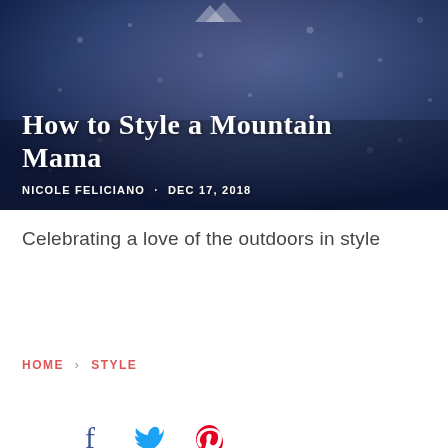[Figure (photo): Hero image showing a person wearing a dark blue jacket with mountain/outdoor graphic, snow or bokeh in background, dark blue tones]
How to Style a Mountain Mama
NICOLE FELICIANO · DEC 17, 2018
Celebrating a love of the outdoors in style
HOME > STYLE
[Figure (other): Social share icons: Facebook, Twitter, Pinterest]